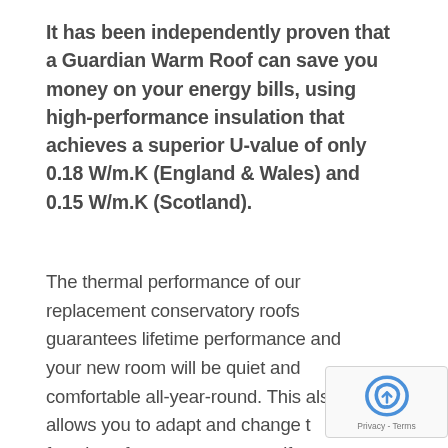It has been independently proven that a Guardian Warm Roof can save you money on your energy bills, using high-performance insulation that achieves a superior U-value of only 0.18 W/m.K (England & Wales) and 0.15 W/m.K (Scotland).
The thermal performance of our replacement conservatory roofs guarantees lifetime performance and your new room will be quiet and comfortable all-year-round. This also allows you to adapt and change the function of your conservatory if you so wish. This really opens up all of the possibilities